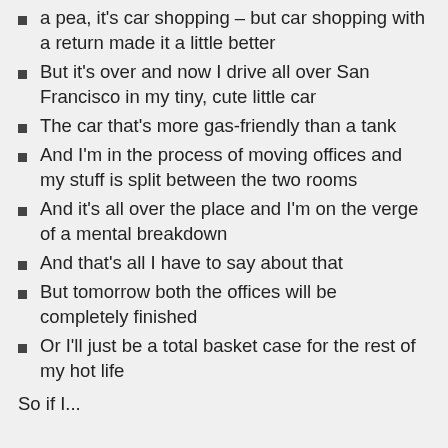a pea, it's car shopping – but car shopping with a return made it a little better
But it's over and now I drive all over San Francisco in my tiny, cute little car
The car that's more gas-friendly than a tank
And I'm in the process of moving offices and my stuff is split between the two rooms
And it's all over the place and I'm on the verge of a mental breakdown
And that's all I have to say about that
But tomorrow both the offices will be completely finished
Or I'll just be a total basket case for the rest of my hot life
So if I...